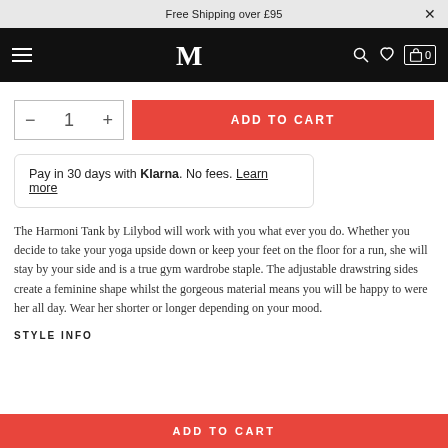Free Shipping over £95
[Figure (logo): MM brand logo in white on black navbar with hamburger menu, search, heart, and cart icons]
- 1 +
ADD TO CART
Pay in 30 days with Klarna. No fees. Learn more
The Harmoni Tank by Lilybod will work with you what ever you do. Whether you decide to take your yoga upside down or keep your feet on the floor for a run, she will stay by your side and is a true gym wardrobe staple. The adjustable drawstring sides create a feminine shape whilst the gorgeous material means you will be happy to were her all day. Wear her shorter or longer depending on your mood.
STYLE INFO
ADD TO CART